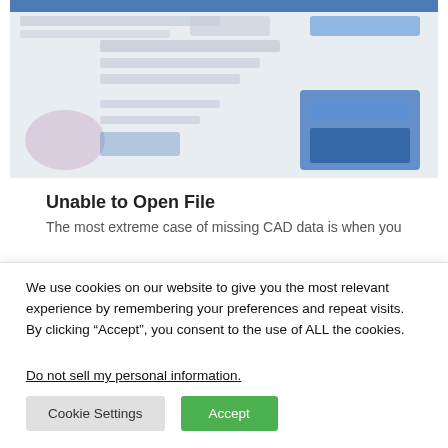[Figure (screenshot): Blurred screenshot of a software interface with blue header and UI elements]
Unable to Open File
The most extreme case of missing CAD data is when you
We use cookies on our website to give you the most relevant experience by remembering your preferences and repeat visits. By clicking “Accept”, you consent to the use of ALL the cookies.
Do not sell my personal information.
Cookie Settings
Accept